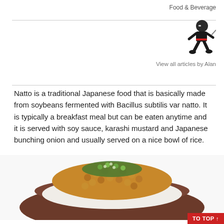Food & Beverage
[Figure (illustration): Ninja cartoon character icon]
View all articles by Alan
Natto is a traditional Japanese food that is basically made from soybeans fermented with Bacillus subtilis var natto. It is typically a breakfast meal but can be eaten anytime and it is served with soy sauce, karashi mustard and Japanese bunching onion and usually served on a nice bowl of rice.
[Figure (photo): A bowl of natto (fermented soybeans) served over white rice, topped with sliced green onions, in a dark brown bowl]
TO TOP ↑